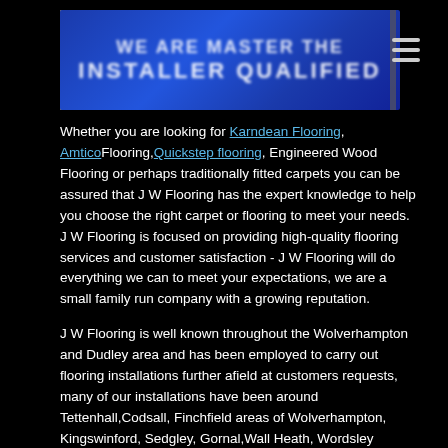[Figure (other): Blue banner header with blurred white text showing installer/flooring company name and a hamburger menu icon on a black background]
Whether you are looking for Karndean Flooring, AmticoFlooring,Quickstep flooring, Engineered Wood Flooring or perhaps traditionally fitted carpets you can be assured that J W Flooring has the expert knowledge to help you choose the right carpet or flooring to meet your needs.
J W Flooring is focused on providing high-quality flooring services and customer satisfaction - J W Flooring will do everything we can to meet your expectations, we are a small family run company with a growing reputation.
J W Flooring is well known throughout the Wolverhampton and Dudley area and has been employed to carry out flooring installations further afield at customers requests, many of our installations have been around Tettenhall,Codsall, Finchfield areas of Wolverhampton, Kingswinford, Sedgley, Gornal,Wall Heath, Wordsley Stourbridge and Milking Bank areas of Dudley
Many of J W Flooring customers are pleased to return to us time and time again mainly due to our extensive flooring knowledge,friendly reliable service and of course the time served experience of installing these products, as we say we wont give you false promises we are installers not salesmen !!!